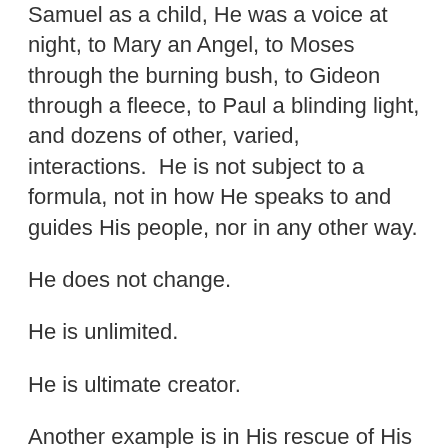Samuel as a child, He was a voice at night, to Mary an Angel, to Moses through the burning bush, to Gideon through a fleece, to Paul a blinding light, and dozens of other, varied, interactions.  He is not subject to a formula, not in how He speaks to and guides His people, nor in any other way.
He does not change.
He is unlimited.
He is ultimate creator.
Another example is in His rescue of His people in the Bible, He sometimes strengthened them so they would be victorious in battle, and sometimes He Himself destroyed the enemy